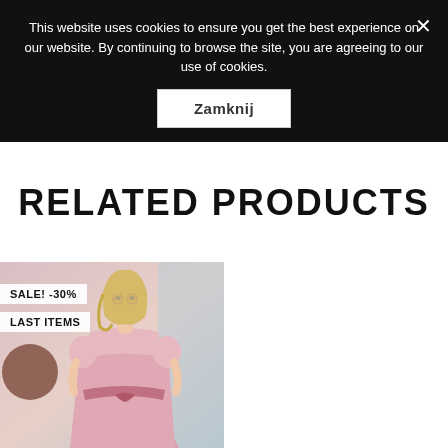This website uses cookies to ensure you get the best experience on our website. By continuing to browse the site, you are agreeing to our use of cookies.
Zamknij
PLN
RELATED PRODUCTS
[Figure (photo): Woman wearing a pink short-sleeve dress with a bow belt, with SALE! -30% and LAST ITEMS badges]
[Figure (photo): Woman wearing a dark floral dress with white collar, with SALE! -30% badge]